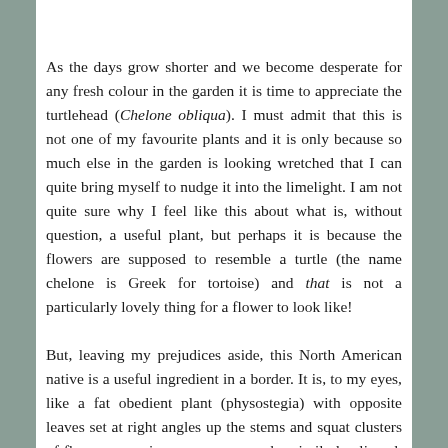As the days grow shorter and we become desperate for any fresh colour in the garden it is time to appreciate the turtlehead (Chelone obliqua). I must admit that this is not one of my favourite plants and it is only because so much else in the garden is looking wretched that I can quite bring myself to nudge it into the limelight. I am not quite sure why I feel like this about what is, without question, a useful plant, but perhaps it is because the flowers are supposed to resemble a turtle (the name chelone is Greek for tortoise) and that is not a particularly lovely thing for a flower to look like!

But, leaving my prejudices aside, this North American native is a useful ingredient in a border. It is, to my eyes, like a fat obedient plant (physostegia) with opposite leaves set at right angles up the stems and squat clusters of flowers, opening over many weeks, similarly aligned. It is native to swampy areas and it does need decent amounts of water in the soil all summer or it can get hit by